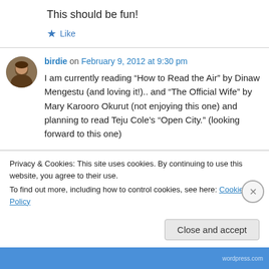This should be fun!
★ Like
birdie on February 9, 2012 at 9:30 pm
I am currently reading “How to Read the Air” by Dinaw Mengestu (and loving it!).. and “The Official Wife” by Mary Karooro Okurut (not enjoying this one) and planning to read Teju Cole’s “Open City.” (looking forward to this one)
Privacy & Cookies: This site uses cookies. By continuing to use this website, you agree to their use.
To find out more, including how to control cookies, see here: Cookie Policy
Close and accept